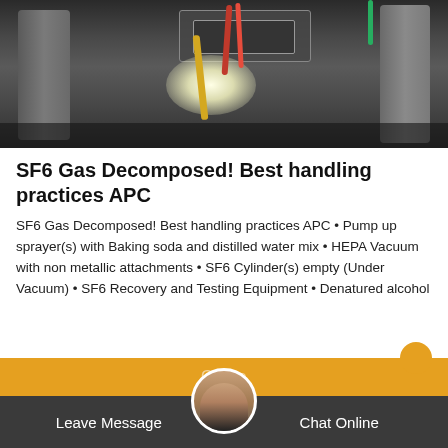[Figure (photo): Interior of electrical equipment cabinet showing wiring, cables (red, yellow, green), bright light source, and metal enclosure components on dark background]
SF6 Gas Decomposed! Best handling practices APC
SF6 Gas Decomposed! Best handling practices APC • Pump up sprayer(s) with Baking soda and distilled water mix • HEPA Vacuum with non metallic attachments • SF6 Cylinder(s) empty (Under Vacuum) • SF6 Recovery and Testing Equipment • Denatured alcohol
[Figure (screenshot): Chat interface footer with orange bar showing 'Grace' label, avatar of customer service representative, dark bar with 'Leave Message' and 'Chat Online' buttons]